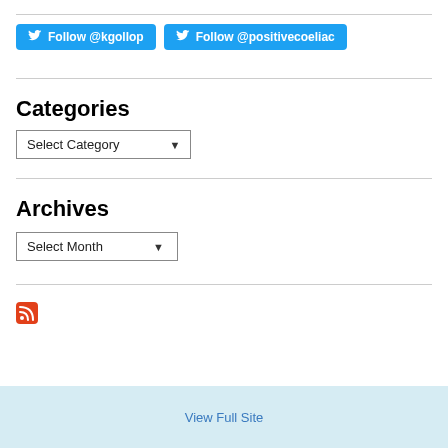[Figure (other): Two Twitter follow buttons: 'Follow @kgollop' and 'Follow @positivecoeliac']
Categories
[Figure (other): Dropdown select box labeled 'Select Category']
Archives
[Figure (other): Dropdown select box labeled 'Select Month']
[Figure (other): RSS feed icon (orange/red square with RSS symbol)]
View Full Site